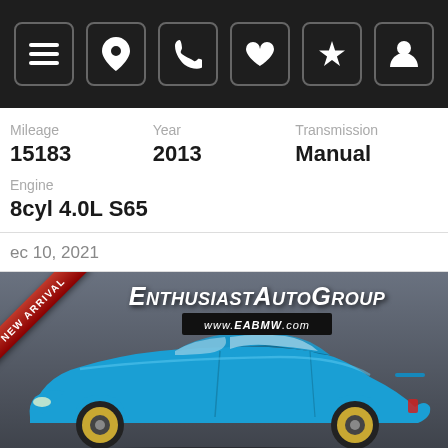Navigation bar with icons: menu, location, phone, heart, star, user
Mileage: 15183 | Year: 2013 | Transmission: Manual
Engine: 8cyl 4.0L S65
Dec 10, 2021
[Figure (photo): Blue BMW M coupe with Enthusiast Auto Group dealer logo overlay and NEW ARRIVAL ribbon badge. Website www.EABMW.com shown below the logo.]